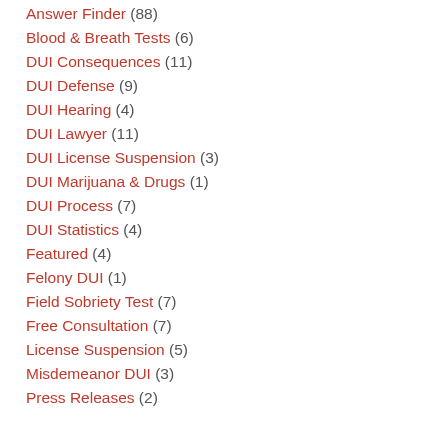Answer Finder (88)
Blood & Breath Tests (6)
DUI Consequences (11)
DUI Defense (9)
DUI Hearing (4)
DUI Lawyer (11)
DUI License Suspension (3)
DUI Marijuana & Drugs (1)
DUI Process (7)
DUI Statistics (4)
Featured (4)
Felony DUI (1)
Field Sobriety Test (7)
Free Consultation (7)
License Suspension (5)
Misdemeanor DUI (3)
Press Releases (2)